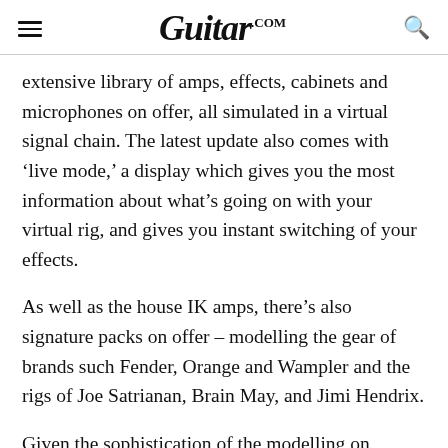Guitar.com
extensive library of amps, effects, cabinets and microphones on offer, all simulated in a virtual signal chain. The latest update also comes with ‘live mode,’ a display which gives you the most information about what’s going on with your virtual rig, and gives you instant switching of your effects.
As well as the house IK amps, there’s also signature packs on offer – modelling the gear of brands such Fender, Orange and Wampler and the rigs of Joe Satrianan, Brain May, and Jimi Hendrix.
Given the sophistication of the modelling on display, the range of products video to...